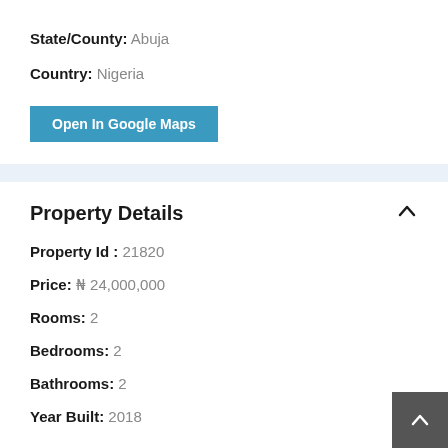State/County: Abuja
Country: Nigeria
Open In Google Maps
Property Details
Property Id : 21820
Price: ₦ 24,000,000
Rooms: 2
Bedrooms: 2
Bathrooms: 2
Year Built: 2018